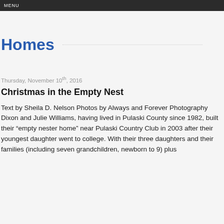MENU
Homes
Thursday, November 10th, 2016
Christmas in the Empty Nest
Text by Sheila D. Nelson Photos by Always and Forever Photography  Dixon and Julie Williams, having lived in Pulaski County since 1982, built their “empty nester home” near Pulaski Country Club in 2003 after their youngest daughter went to college. With their three daughters and their families (including seven grandchildren, newborn to 9) plus